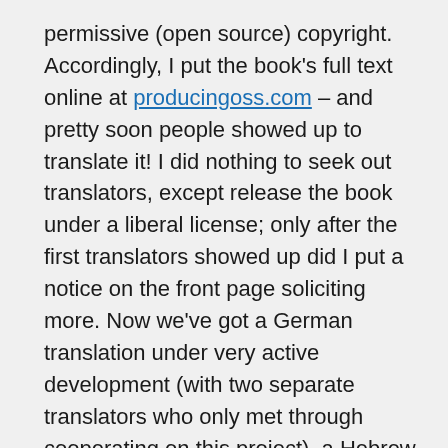permissive (open source) copyright. Accordingly, I put the book's full text online at producingoss.com – and pretty soon people showed up to translate it! I did nothing to seek out translators, except release the book under a liberal license; only after the first translators showed up did I put a notice on the front page soliciting more. Now we've got a German translation under very active development (with two separate translators who only met through cooperating on this project), a Hebrew one happening somewhat more slowly, and some recent arrivals looking at doing a Chinese version.
This is happening with a book that has, let's face it, a fairly limited audience. Not only that, it's the second time this has happened to a book I've published (see cvsbook.red-bean.com). Once could be coincidence; twice is starting to look like a pattern. And I'm only using my own books as examples because they're the first thing